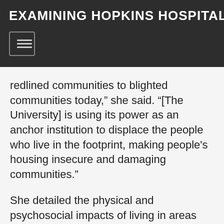EXAMINING HOPKINS HOSPITAL'S RELATI
redlined communities to blighted communities today," she said. "[The University] is using its power as an anchor institution to displace the people who live in the footprint, making people's housing insecure and damaging communities."
She detailed the physical and psychosocial impacts of living in areas that have been affected by things like deindustrialization, white flight and urban renewal.